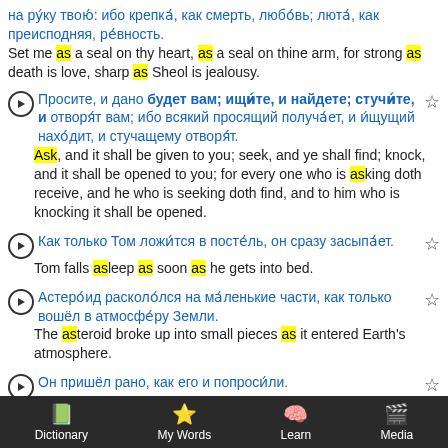на ру́ку твою́: ибо крепка́, как смерть, любо́вь; люта́, как преисподняя, ре́вность.
Set me as a seal on thy heart, as a seal on thine arm, for strong as death is love, sharp as Sheol is jealousy.
Просите, и дано будет вам; ищи́те, и найдете; стучи́те, и отворя́т вам; ибо всякий просящий получа́ет, и и́щущий нахо́дит, и стучащему отворя́т.
Ask, and it shall be given to you; seek, and ye shall find; knock, and it shall be opened to you; for every one who is asking doth receive, and he who is seeking doth find, and to him who is knocking it shall be opened.
Как только Том ложи́тся в посте́ль, он сразу засыпа́ет.
Tom falls asleep as soon as he gets into bed.
Астеро́ид расколо́лся на ма́ленькие части, как только вошёл в атмосфе́ру Земли.
The asteroid broke up into small pieces as it entered Earth's atmosphere.
Он пришёл рано, как его и попроси́ли.
He came early, as he had been asked to do.
Dictionary  My Words  Learn  Media